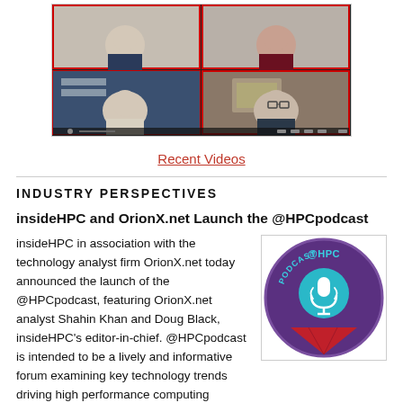[Figure (photo): Video call screenshot showing 4 participants in a 2x2 grid with red borders]
Recent Videos
INDUSTRY PERSPECTIVES
insideHPC and OrionX.net Launch the @HPCpodcast
insideHPC in association with the technology analyst firm OrionX.net today announced the launch of the @HPCpodcast, featuring OrionX.net analyst Shahin Khan and Doug Black, insideHPC's editor-in-chief. @HPCpodcast is intended to be a lively and informative forum examining key technology trends driving high performance computing and artificial intelligence. Each podcast will feature Khan and Blacks' comments on the latest HPC news and also a deeper dive into a focused topic. In our first @HPCpodcast episode, we talk about a
[Figure (logo): @HPCpodcast circular logo with microphone icon, teal and purple colors with red triangle at bottom]